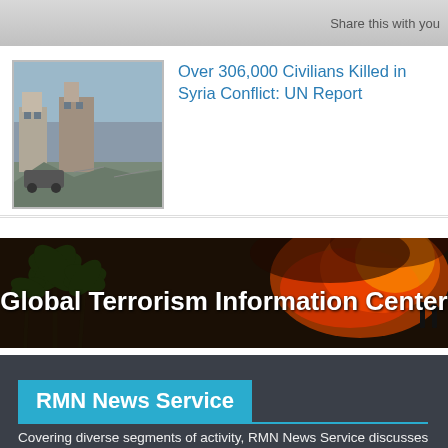Share this with you
Over 306,000 Civilians Killed in Syria Conflict: UN Report
[Figure (photo): Thumbnail photo showing war-damaged buildings in Syria, rubble and destroyed structures visible]
[Figure (photo): Banner image for Global Terrorism Information Center showing fire, smoke and palm trees at night with white bold text: Global Terrorism Information Center]
RMN News Service
Covering diverse segments of activity, RMN News Service discusses the burning issues that have immediate impact on various governments, businesses, and the lives of commoners. It is a web property of Raman Media Network (RMN) Company.